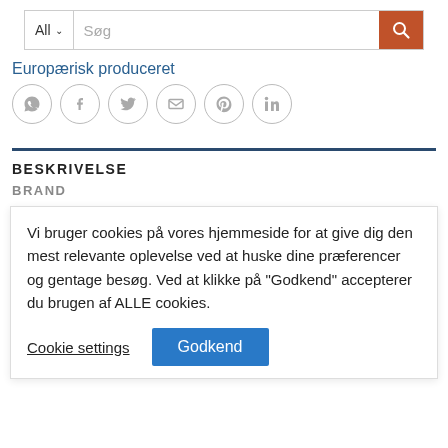[Figure (screenshot): Search bar with 'All' dropdown, 'Søg' placeholder text input, and orange search button with magnifying glass icon]
Europærisk produceret
[Figure (infographic): Social media sharing icons in circles: WhatsApp, Facebook, Twitter, Email, Pinterest, LinkedIn]
BESKRIVELSE
BRAND
Vi bruger cookies på vores hjemmeside for at give dig den mest relevante oplevelse ved at huske dine præferencer og gentage besøg. Ved at klikke på "Godkend" accepterer du brugen af ALLE cookies.
Cookie settings
Godkend